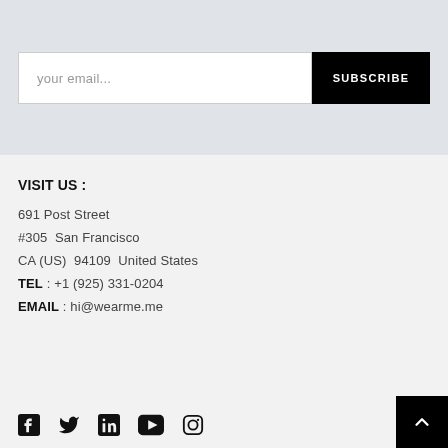your email...
SUBSCRIBE
VISIT US :
691 Post Street
#305  San Francisco
CA (US)  94109  United States
TEL : +1 (925) 331-0204
EMAIL : hi@wearme.me
[Figure (other): Social media icons: Facebook, Twitter, LinkedIn, YouTube, Instagram]